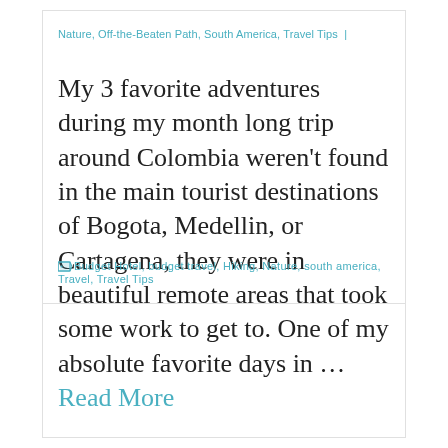Nature, Off-the-Beaten Path, South America, Travel Tips  |
My 3 favorite adventures during my month long trip around Colombia weren't found in the main tourist destinations of Bogota, Medellin, or Cartagena, they were in beautiful remote areas that took some work to get to. One of my absolute favorite days in … Read More
Budget Hotel, budget travel, Hiking, Nature, south america, Travel, Travel Tips